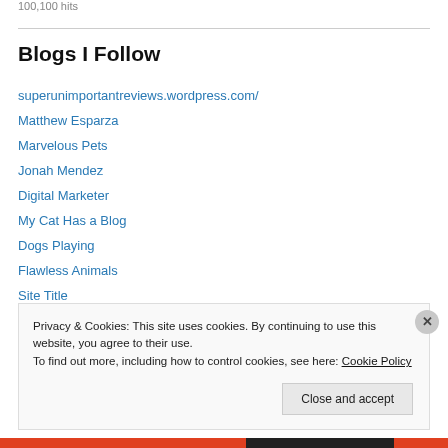100,100 hits
Blogs I Follow
superunimportantreviews.wordpress.com/
Matthew Esparza
Marvelous Pets
Jonah Mendez
Digital Marketer
My Cat Has a Blog
Dogs Playing
Flawless Animals
Site Title
Privacy & Cookies: This site uses cookies. By continuing to use this website, you agree to their use. To find out more, including how to control cookies, see here: Cookie Policy
Close and accept